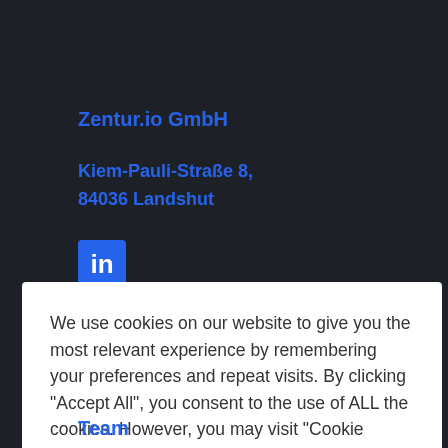Zentur.io GmbH
Kiem-Pauli-Straße 8,
84036 Landshut
[Figure (logo): LinkedIn logo icon — blue square with white 'in' text]
We use cookies on our website to give you the most relevant experience by remembering your preferences and repeat visits. By clicking "Accept All", you consent to the use of ALL the cookies. However, you may visit "Cookie Settings" to provide a controlled consent.
Cookie Settings | Accept All
Team